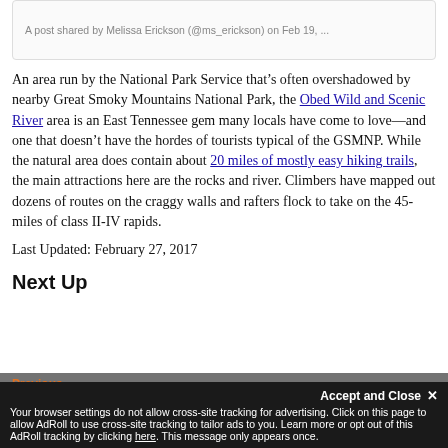A post shared by Melissa Erickson (@ms_erickson) on Feb 19, ...
An area run by the National Park Service that’s often overshadowed by nearby Great Smoky Mountains National Park, the Obed Wild and Scenic River area is an East Tennessee gem many locals have come to love—and one that doesn’t have the hordes of tourists typical of the GSMNP. While the natural area does contain about 20 miles of mostly easy hiking trails, the main attractions here are the rocks and river. Climbers have mapped out dozens of routes on the craggy walls and rafters flock to take on the 45-miles of class II-IV rapids.
Last Updated: February 27, 2017
Next Up
Previous
Accept and Close ×
Your browser settings do not allow cross-site tracking for advertising. Click on this page to allow AdRoll to use cross-site tracking to tailor ads to you. Learn more or opt out of this AdRoll tracking by clicking here. This message only appears once.